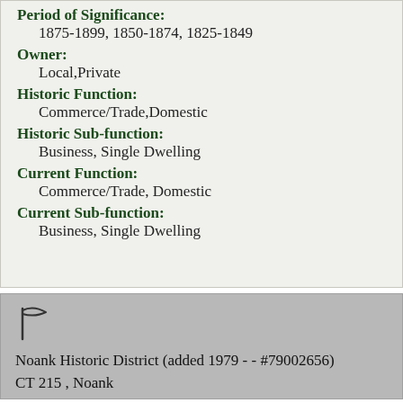Period of Significance:
1875-1899, 1850-1874, 1825-1849
Owner:
Local,Private
Historic Function:
Commerce/Trade,Domestic
Historic Sub-function:
Business, Single Dwelling
Current Function:
Commerce/Trade, Domestic
Current Sub-function:
Business, Single Dwelling
[Figure (other): Flag/bookmark icon]
Noank Historic District (added 1979 - - #79002656)
CT 215 , Noank
Historic Significance: